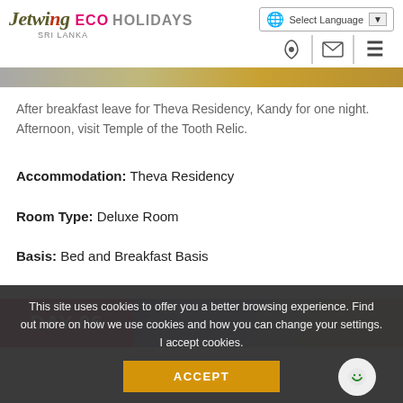Jetwing ECO HOLIDAYS SRI LANKA — Select Language
[Figure (screenshot): Jetwing Eco Holidays logo with navigation icons and language selector]
[Figure (photo): Banner image strip showing partial landscape photo]
After breakfast leave for Theva Residency, Kandy for one night. Afternoon, visit Temple of the Tooth Relic.
Accommodation: Theva Residency
Room Type: Deluxe Room
Basis: Bed and Breakfast Basis
DAY 06
[Figure (photo): Day 06 banner with blue/purple gradient landscape image]
This site uses cookies to offer you a better browsing experience. Find out more on how we use cookies and how you can change your settings. I accept cookies.